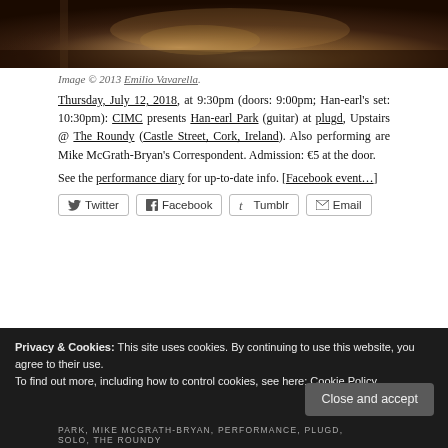[Figure (photo): Cropped photo of hands playing guitar, dark warm tones]
Image © 2013 Emilio Vavarella.
Thursday, July 12, 2018, at 9:30pm (doors: 9:00pm; Han-earl's set: 10:30pm): CIMC presents Han-earl Park (guitar) at plugd, Upstairs @ The Roundy (Castle Street, Cork, Ireland). Also performing are Mike McGrath-Bryan's Correspondent. Admission: €5 at the door.
See the performance diary for up-to-date info. [Facebook event…]
[Figure (other): Share buttons: Twitter, Facebook, Tumblr, Email]
Privacy & Cookies: This site uses cookies. By continuing to use this website, you agree to their use. To find out more, including how to control cookies, see here: Cookie Policy
PARK, MIKE MCGRATH-BRYAN, PERFORMANCE, PLUGD, SOLO, THE ROUNDY